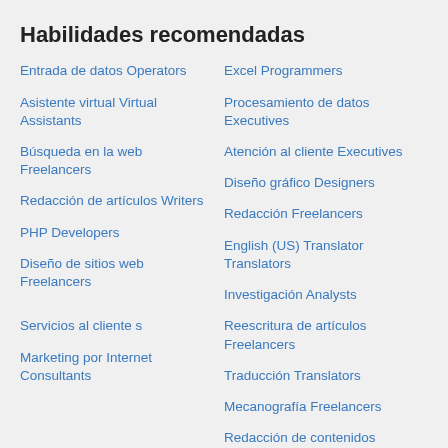Habilidades recomendadas
Entrada de datos Operators
Excel Programmers
Asistente virtual Virtual Assistants
Procesamiento de datos Executives
Búsqueda en la web Freelancers
Atención al cliente Executives
Diseño gráfico Designers
Redacción de artículos Writers
Redacción Freelancers
PHP Developers
English (US) Translator Translators
Diseño de sitios web Freelancers
Investigación Analysts
Reescritura de artículos Freelancers
Servicios al cliente s
Traducción Translators
Marketing por Internet Consultants
Mecanografía Freelancers
Redacción de contenidos Content Writers